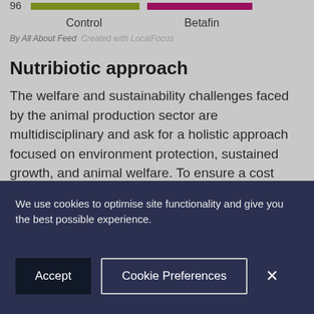[Figure (bar-chart): Partial bar chart showing Control and Betafin bars at value 96, with axis labels]
By All About Feed  Created with LocalFocus
Nutribiotic approach
The welfare and sustainability challenges faced by the animal production sector are multidisciplinary and ask for a holistic approach focused on environment protection, sustained growth, and animal welfare. To ensure a cost neutral and environmentally sustainable growth a strategy that
We use cookies to optimise site functionality and give you the best possible experience.